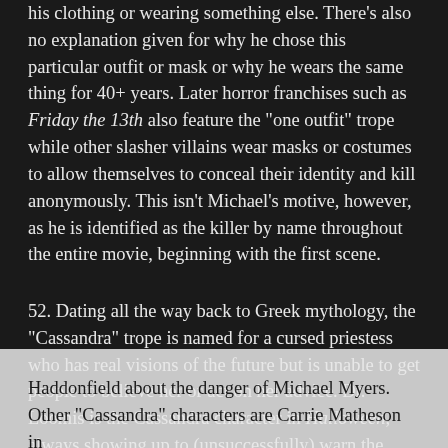his clothing or wearing something else. There's also no explanation given for why he chose this particular outfit or mask or why he wears the same thing for 40+ years. Later horror franchises such as Friday the 13th also feature the "one outfit" trope while other slasher villains wear masks or costumes to allow themselves to conceal their identity and kill anonymously. This isn't Michael's motive, however, as he is identified as the killer by name throughout the entire movie, beginning with the first scene.
52. Dating all the way back to Greek mythology, the "Cassandra" trope is named for a cursed priestess who has real visions of the future but is unable to get people to believe her or act on her advice. Dr. Loomis is the Cassandra character in Halloween, always showing up to (unsuccessfully) warn the people of Haddonfield about the danger of Michael Myers. Other "Cassandra" characters are Carrie Matheson in